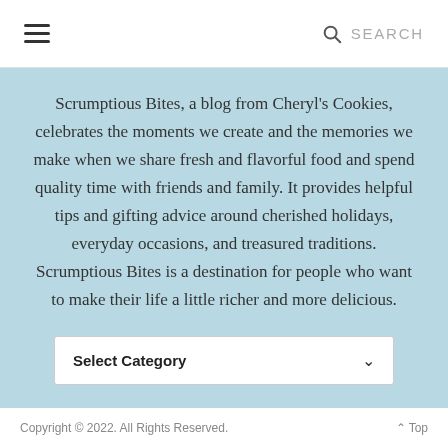≡  SEARCH
Scrumptious Bites, a blog from Cheryl's Cookies, celebrates the moments we create and the memories we make when we share fresh and flavorful food and spend quality time with friends and family. It provides helpful tips and gifting advice around cherished holidays, everyday occasions, and treasured traditions. Scrumptious Bites is a destination for people who want to make their life a little richer and more delicious.
Select Category
Copyright © 2022. All Rights Reserved.    ∧ Top